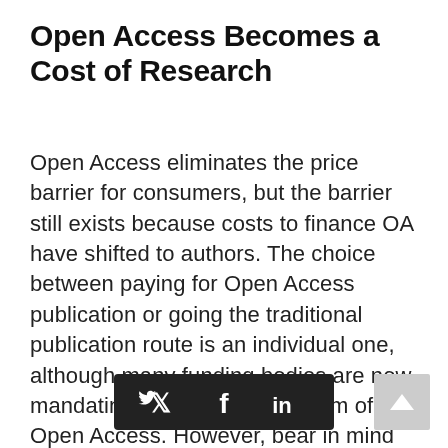Open Access Becomes a Cost of Research
Open Access eliminates the price barrier for consumers, but the barrier still exists because costs to finance OA have shifted to authors. The choice between paying for Open Access publication or going the traditional publication route is an individual one, although many funding bodies are now mandating the use of some form of Open Access. However, bear in mind the importance of visibility, audience, and citations for your research. When you look at candidate journals for your research, you
[Figure (infographic): Dark gray social sharing bar with Twitter (bird), Facebook (f), and LinkedIn (in) icons, plus a scroll-to-top button on the right.]